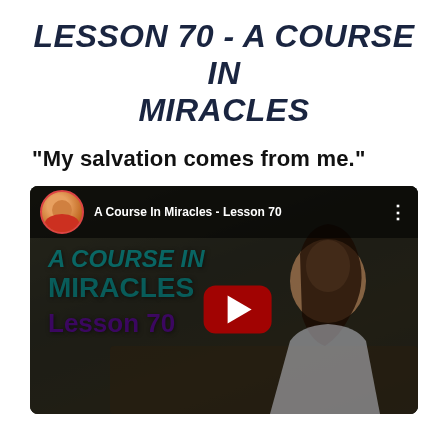LESSON 70 - A COURSE IN MIRACLES
"My salvation comes from me."
[Figure (screenshot): YouTube video thumbnail for 'A Course In Miracles - Lesson 70' showing a woman reading outdoors with overlaid text and a red play button.]